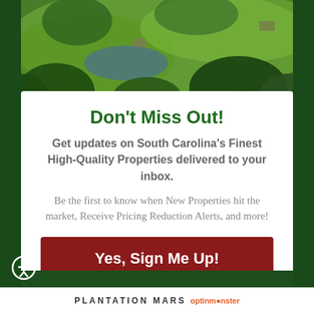[Figure (photo): Aerial view of South Carolina property with green trees, fields, and structures visible from above]
Don't Miss Out!
Get updates on South Carolina's Finest High-Quality Properties delivered to your inbox.
Be the first to know when New Properties hit the market, Receive Pricing Reduction Alerts, and more!
Yes, Sign Me Up!
No Thanks
PLANTATION MARS optinmonster